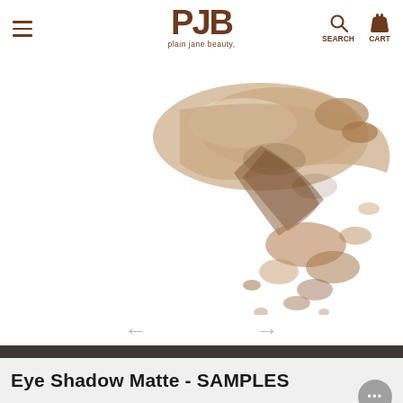plain jane beauty. - SEARCH CART
[Figure (photo): Loose eyeshadow powder in beige/taupe tones spilling and crumbled on white background]
We use cookies on our website to give you the very best shopping experience we can. By using this site, you agree to its use of cookies.
OK, got it!
Eye Shadow Matte - SAMPLES